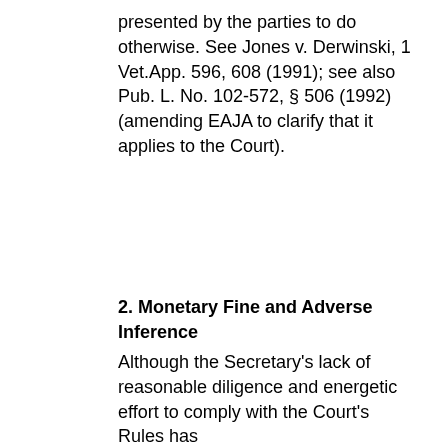presented by the parties to do otherwise. See Jones v. Derwinski, 1 Vet.App. 596, 608 (1991); see also Pub. L. No. 102-572, § 506 (1992) (amending EAJA to clarify that it applies to the Court).
2. Monetary Fine and Adverse Inference
Although the Secretary's lack of reasonable diligence and energetic effort to comply with the Court's Rules has